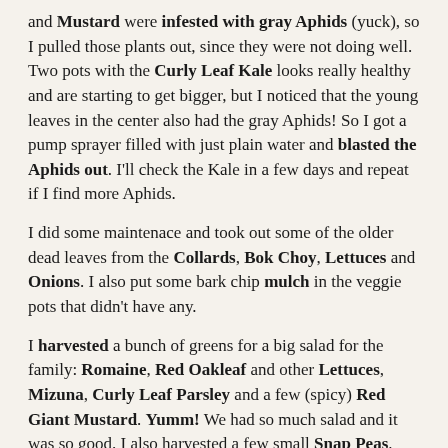and Mustard were infested with gray Aphids (yuck), so I pulled those plants out, since they were not doing well. Two pots with the Curly Leaf Kale looks really healthy and are starting to get bigger, but I noticed that the young leaves in the center also had the gray Aphids! So I got a pump sprayer filled with just plain water and blasted the Aphids out. I'll check the Kale in a few days and repeat if I find more Aphids.
I did some maintenace and took out some of the older dead leaves from the Collards, Bok Choy, Lettuces and Onions. I also put some bark chip mulch in the veggie pots that didn't have any.
I harvested a bunch of greens for a big salad for the family: Romaine, Red Oakleaf and other Lettuces, Mizuna, Curly Leaf Parsley and a few (spicy) Red Giant Mustard. Yumm! We had so much salad and it was so good. I also harvested a few small Snap Peas.